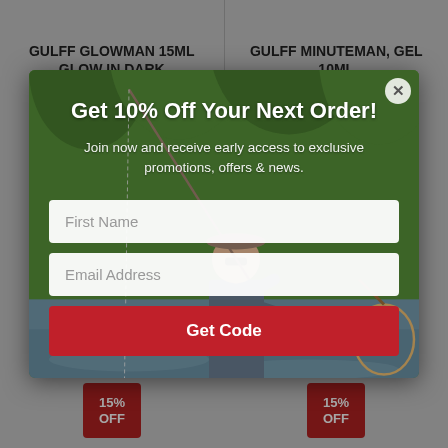GULFF GLOWMAN 15ML GLOW IN DARK
GULFF MINUTEMAN, GEL 10ML
[Figure (screenshot): Popup modal overlay on a fishing gear product page showing a discount offer with a fisherman fly fishing in a river as background image]
Get 10% Off Your Next Order!
Join now and receive early access to exclusive promotions, offers & news.
First Name
Email Address
Get Code
15% OFF
15% OFF